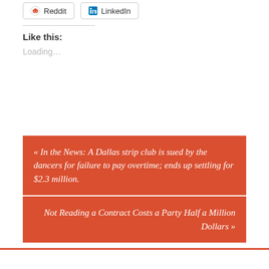[Figure (other): Social sharing buttons for Reddit and LinkedIn]
Like this:
Loading...
« In the News: A Dallas strip club is sued by the dancers for failure to pay overtime; ends up settling for $2.3 million.
Not Reading a Contract Costs a Party Half a Million Dollars »